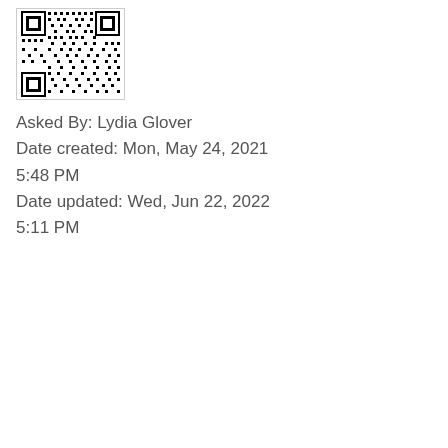[Figure (other): QR code image in a bordered box]
Asked By: Lydia Glover
Date created: Mon, May 24, 2021 5:48 PM
Date updated: Wed, Jun 22, 2022 5:11 PM